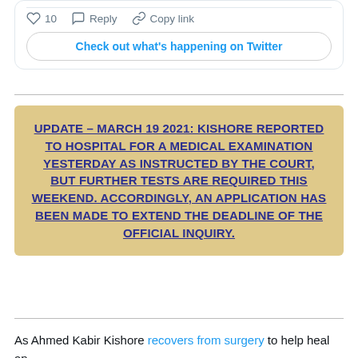[Figure (screenshot): Twitter/X post action bar with heart icon showing 10 likes, Reply button, and Copy link button, followed by a 'Check out what's happening on Twitter' call-to-action button]
UPDATE – MARCH 19 2021: KISHORE REPORTED TO HOSPITAL FOR A MEDICAL EXAMINATION YESTERDAY AS INSTRUCTED BY THE COURT, BUT FURTHER TESTS ARE REQUIRED THIS WEEKEND. ACCORDINGLY, AN APPLICATION HAS BEEN MADE TO EXTEND THE DEADLINE OF THE OFFICIAL INQUIRY.
As Ahmed Kabir Kishore recovers from surgery to help heal an